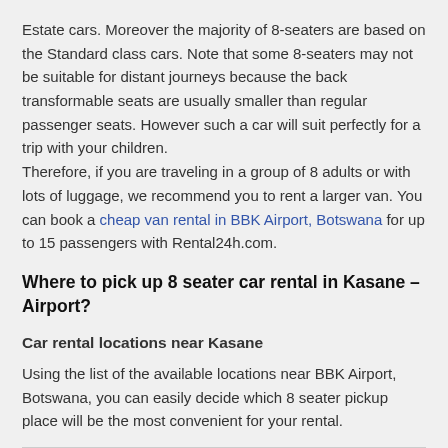Estate cars. Moreover the majority of 8-seaters are based on the Standard class cars. Note that some 8-seaters may not be suitable for distant journeys because the back transformable seats are usually smaller than regular passenger seats. However such a car will suit perfectly for a trip with your children.
Therefore, if you are traveling in a group of 8 adults or with lots of luggage, we recommend you to rent a larger van. You can book a cheap van rental in BBK Airport, Botswana for up to 15 passengers with Rental24h.com.
Where to pick up 8 seater car rental in Kasane – Airport?
Car rental locations near Kasane
Using the list of the available locations near BBK Airport, Botswana, you can easily decide which 8 seater pickup place will be the most convenient for your rental.